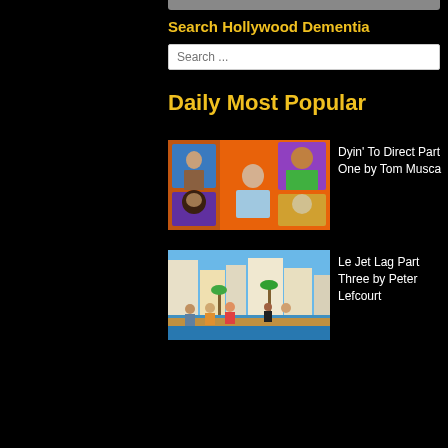Search Hollywood Dementia
Search ...
Daily Most Popular
[Figure (illustration): Cartoon illustration showing multiple caricatured characters around a table, with framed pictures on the wall behind them.]
Dyin’ To Direct Part One by Tom Musca
[Figure (illustration): Cartoon illustration of people on a sunny waterfront promenade with buildings and palm trees in the background.]
Le Jet Lag Part Three by Peter Lefcourt